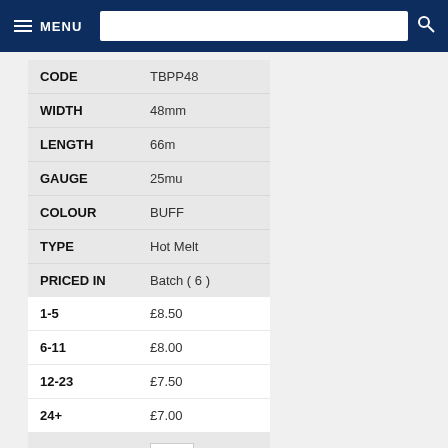MENU
| Property | Value |
| --- | --- |
| CODE | TBPP48 |
| WIDTH | 48mm |
| LENGTH | 66m |
| GAUGE | 25mu |
| COLOUR | BUFF |
| TYPE | Hot Melt |
| PRICED IN | Batch ( 6 ) |
| 1-5 | £8.50 |
| 6-11 | £8.00 |
| 12-23 | £7.50 |
| 24+ | £7.00 |
| QUANTITY |  |
| TOTAL | £0.00 |